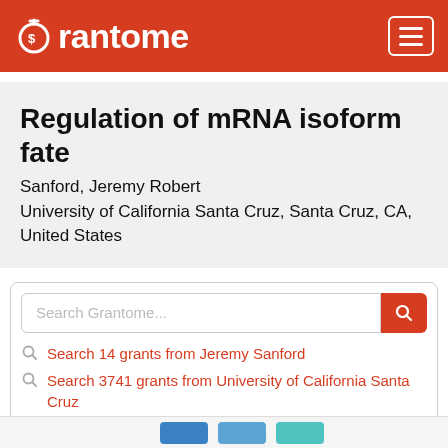Grantome
Regulation of mRNA isoform fate
Sanford, Jeremy Robert
University of California Santa Cruz, Santa Cruz, CA, United States
Search Grantome...
Search 14 grants from Jeremy Sanford
Search 3741 grants from University of California Santa Cruz